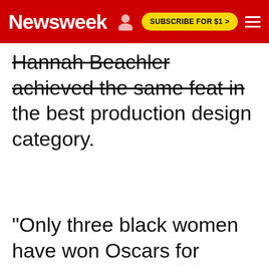Newsweek | SUBSCRIBE FOR $1 >
Hannah Beachler achieved the same feat in the best production design category.
"Only three black women have won Oscars for